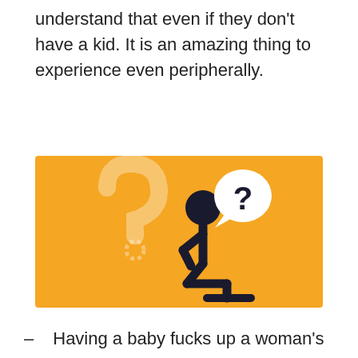understand that even if they don't have a kid. It is an amazing thing to experience even peripherally.
[Figure (illustration): Orange background illustration showing a stick figure person sitting in a thinking pose with a white speech bubble containing a black question mark, and a large faded dashed-outline question mark behind the figure.]
– Having a baby fucks up a woman's